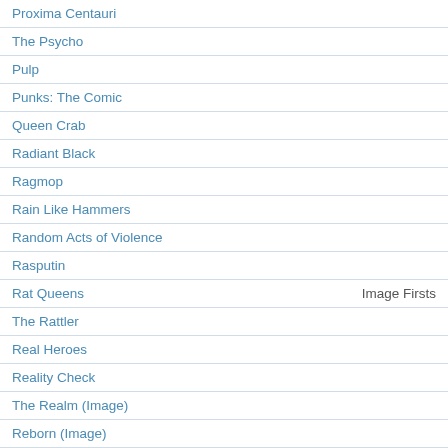Proxima Centauri
The Psycho
Pulp
Punks: The Comic
Queen Crab
Radiant Black
Ragmop
Rain Like Hammers
Random Acts of Violence
Rasputin
Rat Queens | Image Firsts
The Rattler
Real Heroes
Reality Check
The Realm (Image)
Reborn (Image)
Reckless